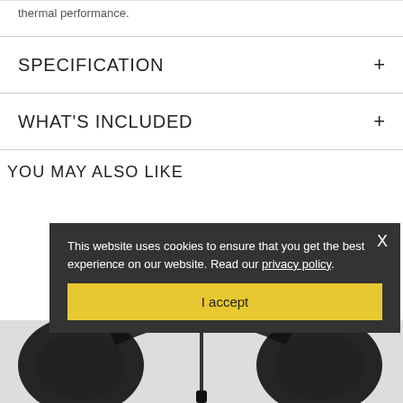thermal performance.
SPECIFICATION
WHAT'S INCLUDED
YOU MAY ALSO LIKE
[Figure (photo): Partial view of black headphones/earphones at the bottom of the page]
This website uses cookies to ensure that you get the best experience on our website. Read our privacy policy.
I accept